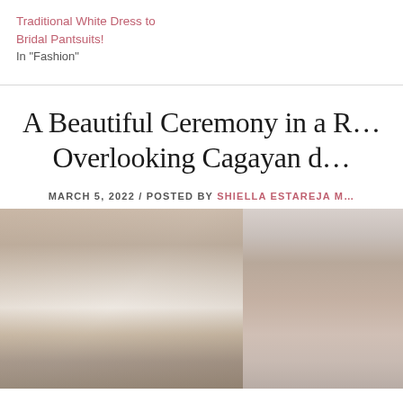Traditional White Dress to Bridal Pantsuits!
In "Fashion"
A Beautiful Ceremony in a R… Overlooking Cagayan d…
MARCH 5, 2022 / POSTED BY SHIELLA ESTAREJA M…
[Figure (photo): Wedding venue with decorative arch, white drapes, floral arrangements, candelabras on table, outdoor setting at dusk]
[Figure (photo): Smiling couple — bride and groom in white, forehead to forehead, happy expression]